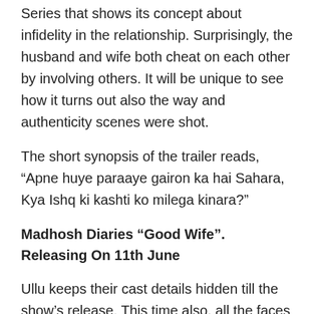Series that shows its concept about infidelity in the relationship. Surprisingly, the husband and wife both cheat on each other by involving others. It will be unique to see how it turns out also the way and authenticity scenes were shot.
The short synopsis of the trailer reads, “Apne huye paraaye gairon ka hai Sahara, Kya Ishq ki kashti ko milega kinara?”
Madhosh Diaries “Good Wife”. Releasing On 11th June
Ullu keeps their cast details hidden till the show’s release. This time also, all the faces in the